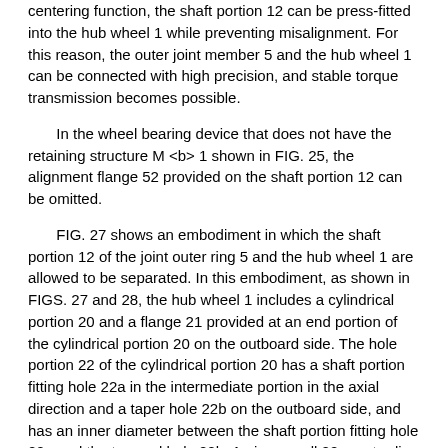centering function, the shaft portion 12 can be press-fitted into the hub wheel 1 while preventing misalignment. For this reason, the outer joint member 5 and the hub wheel 1 can be connected with high precision, and stable torque transmission becomes possible.
In the wheel bearing device that does not have the retaining structure M <b> 1 shown in FIG. 25, the alignment flange 52 provided on the shaft portion 12 can be omitted.
FIG. 27 shows an embodiment in which the shaft portion 12 of the joint outer ring 5 and the hub wheel 1 are allowed to be separated. In this embodiment, as shown in FIGS. 27 and 28, the hub wheel 1 includes a cylindrical portion 20 and a flange 21 provided at an end portion of the cylindrical portion 20 on the outboard side. The hole portion 22 of the cylindrical portion 20 has a shaft portion fitting hole 22a in the intermediate portion in the axial direction and a taper hole 22b on the outboard side, and has an inner diameter between the shaft portion fitting hole 22a and the tapered hole 22b. An inner wall 22g protruding in the direction is provided. The shaft portion 12 of the joint outer ring 5 and the hub wheel 1 are coupled to each other through the